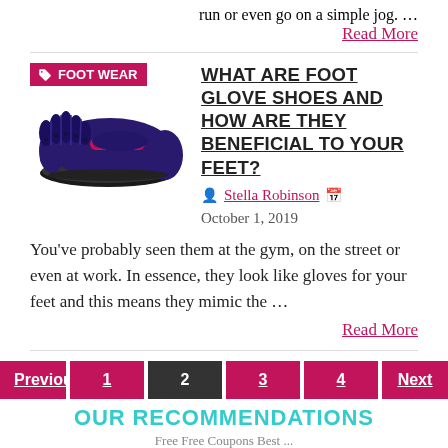run or even go on a simple jog. …
Read More
[Figure (photo): Photo of a Vibram five-finger foot glove shoe (purple/black) with individual toe pockets, with a FOOT WEAR category tag badge overlaid in the top left]
WHAT ARE FOOT GLOVE SHOES AND HOW ARE THEY BENEFICIAL TO YOUR FEET?
Stella Robinson  October 1, 2019
You've probably seen them at the gym, on the street or even at work. In essence, they look like gloves for your feet and this means they mimic the …
Read More
Previous  1  2  3  4  Next
OUR RECOMMENDATIONS
Free Free Coupons Best ...